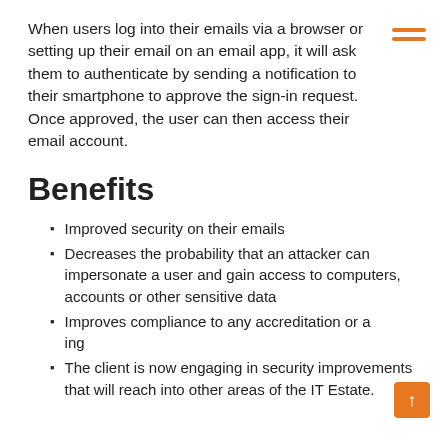When users log into their emails via a browser or setting up their email on an email app, it will ask them to authenticate by sending a notification to their smartphone to approve the sign-in request. Once approved, the user can then access their email account.
Benefits
Improved security on their emails
Decreases the probability that an attacker can impersonate a user and gain access to computers, accounts or other sensitive data
Improves compliance to any accreditation or auditing
The client is now engaging in security improvements that will reach into other areas of the IT Estate.